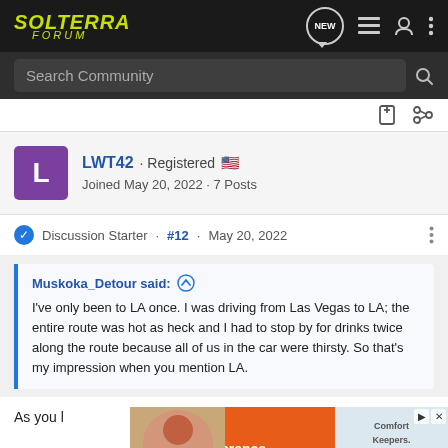SOLTERRA FORUM
Search Community
LWT42 · Registered
Joined May 20, 2022 · 7 Posts
Discussion Starter · #12 · May 20, 2022
Muskoka_Detour said: ↑
I've only been to LA once. I was driving from Las Vegas to LA; the entire route was hot as heck and I had to stop by for drinks twice along the route because all of us in the car were thirsty. So that's my impression when you mention LA.
As you l... mountain... desert,
[Figure (other): Advertisement banner: 'A career that makes a difference' with Comfort Keepers logo, overlapping bottom of post content]